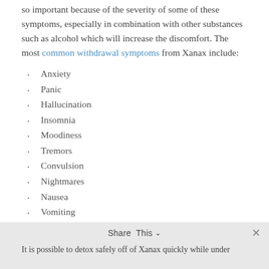so important because of the severity of some of these symptoms, especially in combination with other substances such as alcohol which will increase the discomfort. The most common withdrawal symptoms from Xanax include:
Anxiety
Panic
Hallucination
Insomnia
Moodiness
Tremors
Convulsion
Nightmares
Nausea
Vomiting
Xanax Detox: Medical Assistance
It is possible to detox safely off of Xanax quickly while under
Share This ∨  ✕